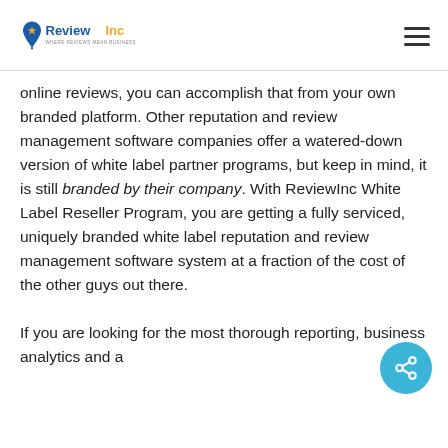ReviewInc — WHERE REVIEWS MEAN BUSINESS
online reviews, you can accomplish that from your own branded platform. Other reputation and review management software companies offer a watered-down version of white label partner programs, but keep in mind, it is still branded by their company. With ReviewInc White Label Reseller Program, you are getting a fully serviced, uniquely branded white label reputation and review management software system at a fraction of the cost of the other guys out there.

If you are looking for the most thorough reporting, business analytics and a